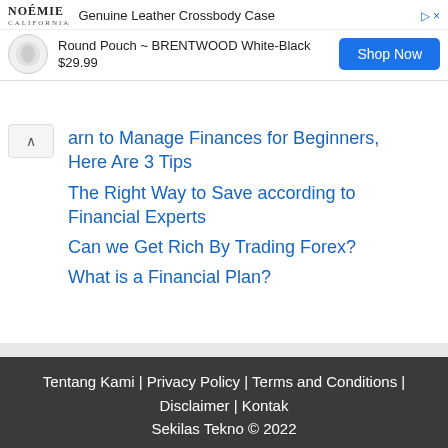[Figure (screenshot): Advertisement banner for NOÉMIE Genuine Leather Crossbody Case - Round Pouch BRENTWOOD White-Black, $29.99 with Shop Now button]
Learn to Manage Finances for Beginners, Here Are 3 Tips
The Right Way to Save according to Financial Experts
Can we Get Rich By Trading Forex?
What is a Financial Plan?
Tentang Kami | Privacy Policy | Terms and Conditions | Disclaimer | Kontak
Sekilas Tekno © 2022